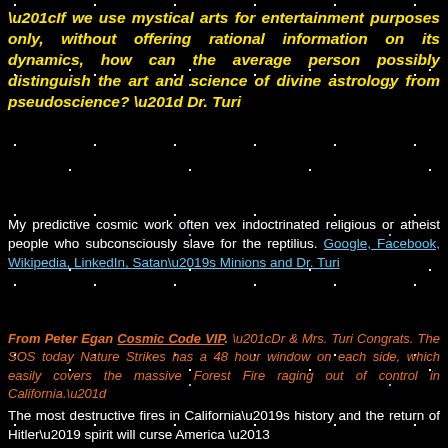“If we use mystical arts for entertainment purposes only, without offering rational information on its dynamics, how can the average person possibly distinguish the art and science of divine astrology from pseudoscience?” Dr. Turi
My predictive cosmic work often vex indoctrinated religious or atheist people who subconsciously slave for the reptilius. Google, Facebook, Wikipedia, LinkedIn, Satan’s Minions and Dr. Turi
From Peter Egan Cosmic Code VIP. “Dr & Mrs. Turi Congrats. The SOS today Nature Strikes has a 48 hour window on each side, which easily covers the massive Forest Fire raging out of control in California.”
The most destructive fires in California’s history and the return of Hitler’ spirit will curse America –